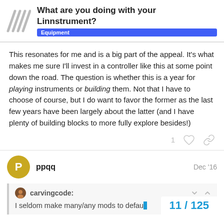What are you doing with your Linnstrument? | Equipment
This resonates for me and is a big part of the appeal. It's what makes me sure I'll invest in a controller like this at some point down the road. The question is whether this is a year for playing instruments or building them. Not that I have to choose of course, but I do want to favor the former as the last few years have been largely about the latter (and I have plenty of building blocks to more fully explore besides!)
1 [like] [link]
ppqq    Dec '16
carvingcode: I seldom make many/any mods to defa...
11 / 125